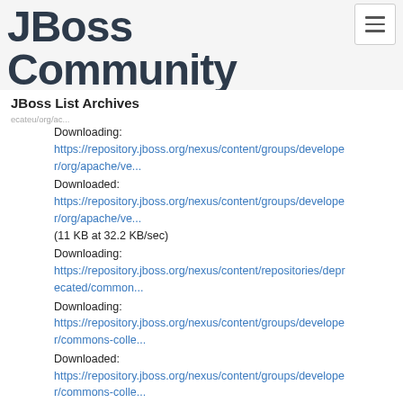[Figure (logo): JBoss Community logo in dark navy/charcoal bold text]
JBoss List Archives
Downloading:
https://repository.jboss.org/nexus/content/groups/developer/org/apache/ve...
Downloaded:
https://repository.jboss.org/nexus/content/groups/developer/org/apache/ve...
(11 KB at 32.2 KB/sec)
Downloading:
https://repository.jboss.org/nexus/content/repositories/deprecated/common...
Downloading:
https://repository.jboss.org/nexus/content/groups/developer/commons-colle...
Downloaded:
https://repository.jboss.org/nexus/content/groups/developer/commons-colle...